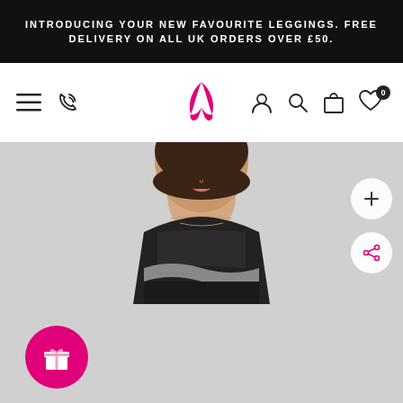INTRODUCING YOUR NEW FAVOURITE LEGGINGS. FREE DELIVERY ON ALL UK ORDERS OVER £50.
[Figure (screenshot): E-commerce website navigation bar with hamburger menu, phone icon, brand logo (X shape in pink), user/account icon, search icon, bag icon, wishlist icon with 0 badge]
[Figure (photo): Female model wearing a black mesh-panel sport top with grey wave stripe detail, dark hair up, light grey background. Pink circular gift reward button bottom-left. Two floating action buttons (plus and share) on the right side.]